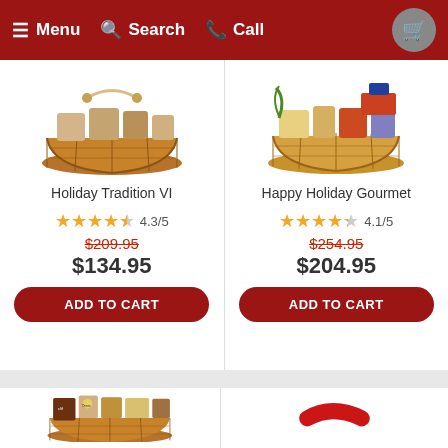Menu  Search  Call
[Figure (photo): Gift basket product image - Holiday Tradition VI]
Holiday Tradition VI
4.3/5
$209.95
$134.95
ADD TO CART
[Figure (photo): Gift basket product image - Happy Holiday Gourmet]
Happy Holiday Gourmet
4.1/5
$254.95
$204.95
ADD TO CART
[Figure (photo): Gift basket product image - partial view at bottom left]
[Figure (photo): Partial red curved shape visible at bottom right cell]